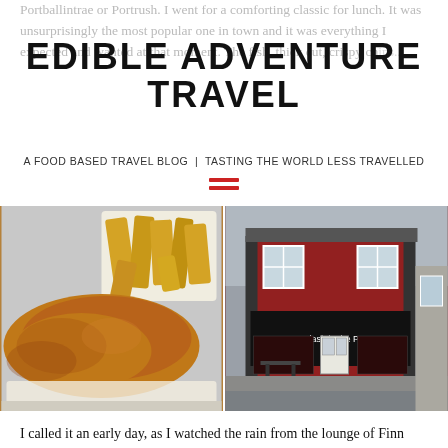Portballintrae or Portrush. I went for a comforting classic for lunch. It was unsurprisingly the most popular one in town and it was everything I expected and wanted at that moment. The fish, thick cut, crispy chips...
EDIBLE ADVENTURE TRAVEL
A FOOD BASED TRAVEL BLOG | TASTING THE WORLD LESS TRAVELLED
[Figure (photo): Left: plate of battered fish and chips on white paper. Right: exterior of a red-painted shop called 'Flash in the Pan' on a wet street.]
I called it an early day, as I watched the rain from the lounge of Finn McCool's and readied myself to move on the following day. All good things must come to an end they say and my time here was drawing to a close. I could have easily spent a week here in...